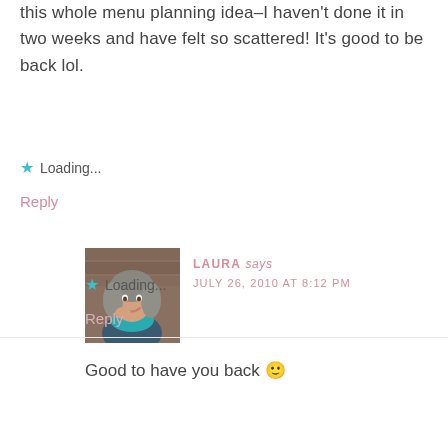this whole menu planning idea–I haven't done it in two weeks and have felt so scattered! It's good to be back lol.
★ Loading...
Reply
[Figure (photo): Profile photo of a smiling woman with gray and brown hair wearing a blue/teal scarf, posed with hand near chin, in front of a brick wall background.]
LAURA says
JULY 26, 2010 AT 8:12 PM
Good to have you back 🙂
★ Loading...
Reply